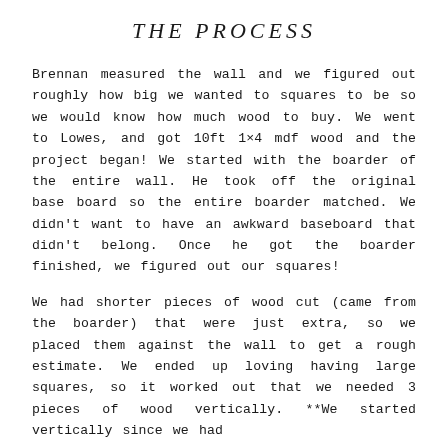THE PROCESS
Brennan measured the wall and we figured out roughly how big we wanted to squares to be so we would know how much wood to buy. We went to Lowes, and got 10ft 1×4 mdf wood and the project began! We started with the boarder of the entire wall. He took off the original base board so the entire boarder matched. We didn't want to have an awkward baseboard that didn't belong. Once he got the boarder finished, we figured out our squares!
We had shorter pieces of wood cut (came from the boarder) that were just extra, so we placed them against the wall to get a rough estimate. We ended up loving having large squares, so it worked out that we needed 3 pieces of wood vertically. **We started vertically since we had